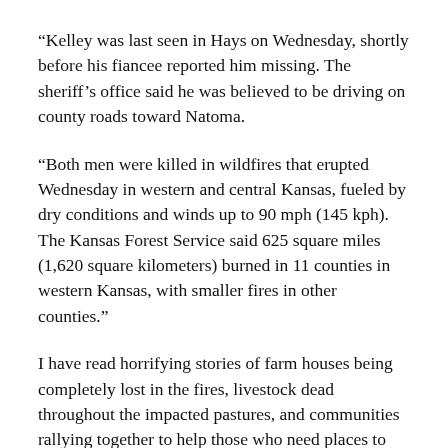“Kelley was last seen in Hays on Wednesday, shortly before his fiancee reported him missing. The sheriff’s office said he was believed to be driving on county roads toward Natoma.
“Both men were killed in wildfires that erupted Wednesday in western and central Kansas, fueled by dry conditions and winds up to 90 mph (145 kph). The Kansas Forest Service said 625 square miles (1,620 square kilometers) burned in 11 counties in western Kansas, with smaller fires in other counties.”
I have read horrifying stories of farm houses being completely lost in the fires, livestock dead throughout the impacted pastures, and communities rallying together to help those who need places to stay, food to eat, clothes to wear, and feed for their livestock.